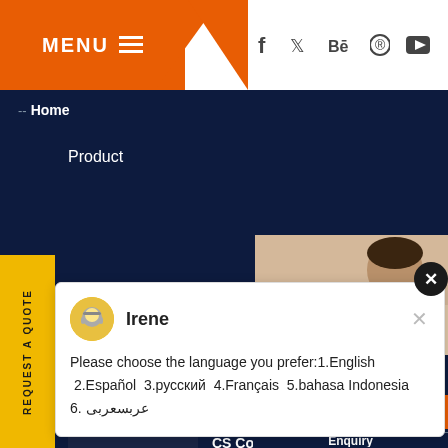MENU ≡  [social icons: f, twitter, Be, pinterest, youtube]
-- Home
Product
Services.
NK series mobile crusher
CS Cone Crusher
Irene
Please choose the language you prefer:1.English  2.Español  3.русский  4.Français  5.bahasa Indonesia   6. عربسعربی
Have any q... click here.
Quota
Enquiry
drobilkalm
REQUEST A QUOTE
1